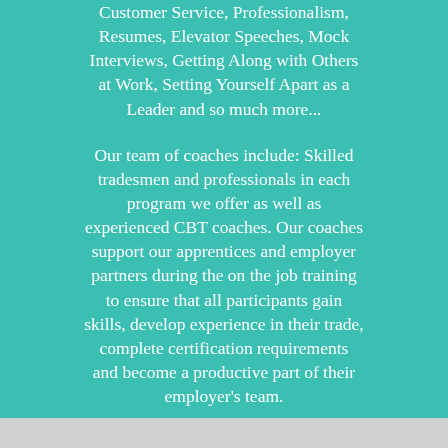Customer Service, Professionalism, Resumes, Elevator Speeches, Mock Interviews, Getting Along with Others at Work, Setting Yourself Apart as a Leader and so much more...
Our team of coaches include: Skilled tradesmen and professionals in each program we offer as well as experienced CBT coaches. Our coaches support our apprentices and employer partners during the on the job training to ensure that all participants gain skills, develop experience in their trade, complete certification requirements and become a productive part of their employer's team.